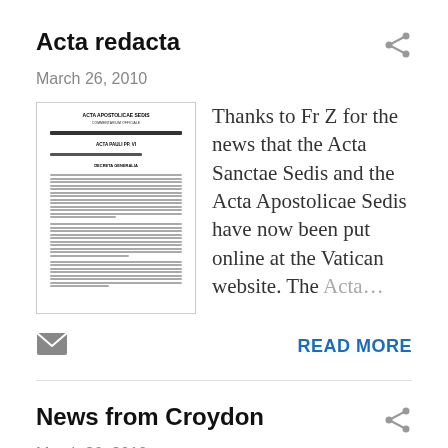Acta redacta
March 26, 2010
[Figure (illustration): Thumbnail image of old document page resembling Acta Apostolicae Sedis cover]
Thanks to Fr Z for the news that the Acta Sanctae Sedis and the Acta Apostolicae Sedis have now been put online at the Vatican website. The Acta...
READ MORE
News from Croydon
March 26, 2010